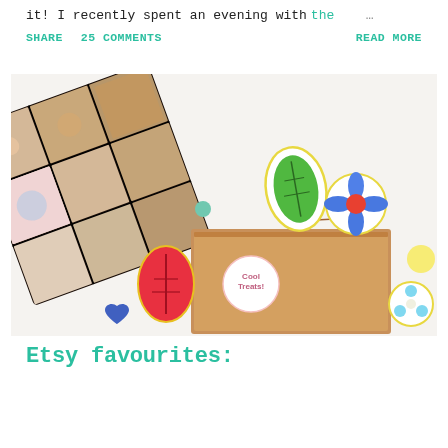it! I recently spent an evening with the …
SHARE   25 COMMENTS                                READ MORE
[Figure (photo): A flat lay photo showing a kraft paper bag with a decorative sticker reading 'Cool Treats!', surrounded by colorful illustrated stickers of leaves and flowers, and a tilted grid of food/lifestyle photos in the upper left.]
Etsy favourites: